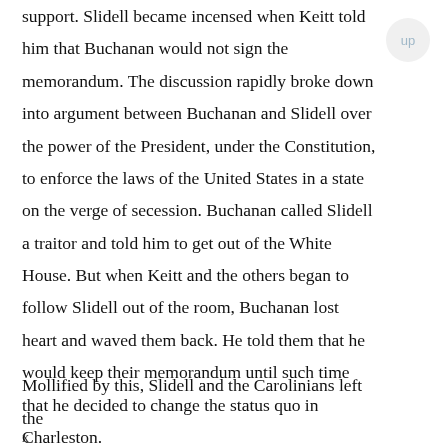support. Slidell became incensed when Keitt told him that Buchanan would not sign the memorandum. The discussion rapidly broke down into argument between Buchanan and Slidell over the power of the President, under the Constitution, to enforce the laws of the United States in a state on the verge of secession. Buchanan called Slidell a traitor and told him to get out of the White House. But when Keitt and the others began to follow Slidell out of the room, Buchanan lost heart and waved them back. He told them that he would keep their memorandum until such time that he decided to change the status quo in Charleston.
Mollified by this, Slidell and the Carolinians left the